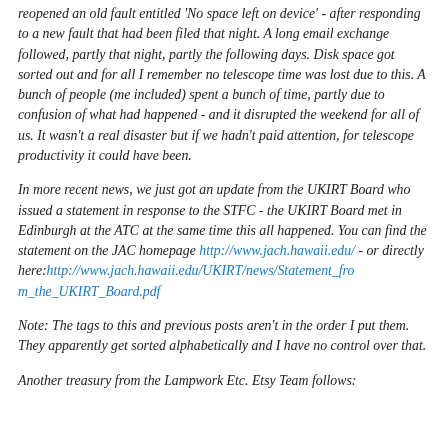reopened an old fault entitled 'No space left on device' - after responding to a new fault that had been filed that night. A long email exchange followed, partly that night, partly the following days. Disk space got sorted out and for all I remember no telescope time was lost due to this. A bunch of people (me included) spent a bunch of time, partly due to confusion of what had happened - and it disrupted the weekend for all of us. It wasn't a real disaster but if we hadn't paid attention, for telescope productivity it could have been.
In more recent news, we just got an update from the UKIRT Board who issued a statement in response to the STFC - the UKIRT Board met in Edinburgh at the ATC at the same time this all happened. You can find the statement on the JAC homepage http://www.jach.hawaii.edu/ - or directly here:http://www.jach.hawaii.edu/UKIRT/news/Statement_from_the_UKIRT_Board.pdf
Note: The tags to this and previous posts aren't in the order I put them. They apparently get sorted alphabetically and I have no control over that.
Another treasury from the Lampwork Etc. Etsy Team follows: